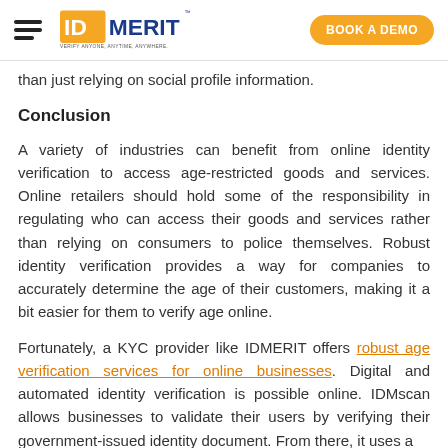IDMerit — VERIFY ANYONE, ANYTIME, ANYWHERE. | BOOK A DEMO
than just relying on social profile information.
Conclusion
A variety of industries can benefit from online identity verification to access age-restricted goods and services. Online retailers should hold some of the responsibility in regulating who can access their goods and services rather than relying on consumers to police themselves. Robust identity verification provides a way for companies to accurately determine the age of their customers, making it a bit easier for them to verify age online.
Fortunately, a KYC provider like IDMERIT offers robust age verification services for online businesses. Digital and automated identity verification is possible online. IDMscan allows businesses to validate their users by verifying their government-issued identity document. From there, it uses a